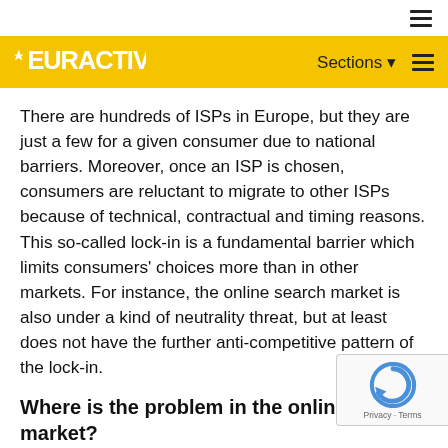EURACTIV — Sections
There are hundreds of ISPs in Europe, but they are just a few for a given consumer due to national barriers. Moreover, once an ISP is chosen, consumers are reluctant to migrate to other ISPs because of technical, contractual and timing reasons. This so-called lock-in is a fundamental barrier which limits consumers' choices more than in other markets. For instance, the online search market is also under a kind of neutrality threat, but at least does not have the further anti-competitive pattern of the lock-in.
Where is the problem in the online search market?
The online search market is dominated by one player, Google, which potentially has the capacity of conveying